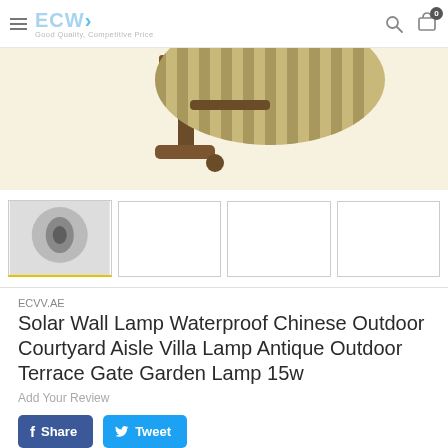ECW Good Quality, Competitive Price
[Figure (photo): Antique bronze solar wall lamp with striped fabric shade mounted on decorative bracket, shown against light background]
[Figure (photo): Thumbnail row showing 4 product image slots; first slot shows blurred lamp image (active, highlighted border), remaining three are empty white boxes]
ECVV.AE
Solar Wall Lamp Waterproof Chinese Outdoor Courtyard Aisle Villa Lamp Antique Outdoor Terrace Gate Garden Lamp 15w
Add Your Review
Share
Tweet
Available: In Stock